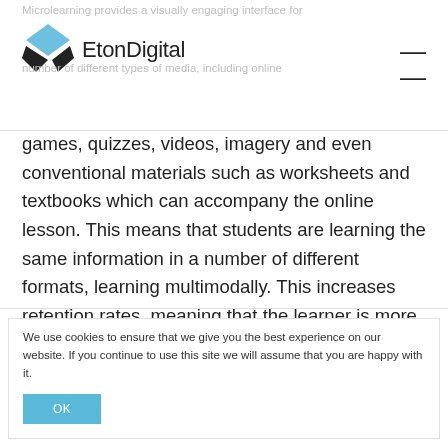EtonDigital
games, quizzes, videos, imagery and even conventional materials such as worksheets and textbooks which can accompany the online lesson. This means that students are learning the same information in a number of different formats, learning multimodally. This increases retention rates, meaning that the learner is more likely to remember, apply and utilise the content that they have learnt.
We use cookies to ensure that we give you the best experience on our website. If you continue to use this site we will assume that you are happy with it.